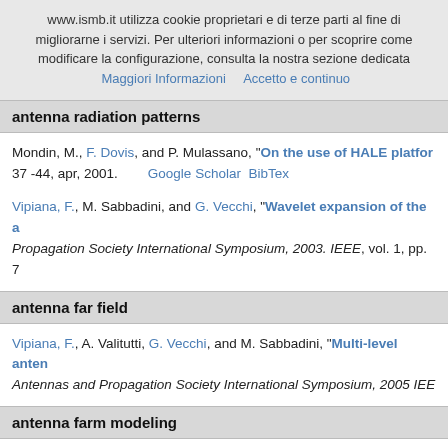www.ismb.it utilizza cookie proprietari e di terze parti al fine di migliorarne i servizi. Per ulteriori informazioni o per scoprire come modificare la configurazione, consulta la nostra sezione dedicata  Maggiori Informazioni      Accetto e continuo
antenna radiation patterns
Mondin, M., F. Dovis, and P. Mulassano, "On the use of HALE platfor... 37 -44, apr, 2001.        Google Scholar  BibTex
Vipiana, F., M. Sabbadini, and G. Vecchi, "Wavelet expansion of the a... Propagation Society International Symposium, 2003. IEEE, vol. 1, pp. 7...
antenna far field
Vipiana, F., A. Valitutti, G. Vecchi, and M. Sabbadini, "Multi-level anten... Antennas and Propagation Society International Symposium, 2005 IEE...
antenna farm modeling
Bercigli, M., F. Vipiana, P. De Vita, A. Mori, A. Freni, G. Vecchi, R. Guid... "modeling in large antenna farm and scattering problems", 3rd Euro... Germany, pp. 2132 -2135, 03/2009.        Google Scholar  BibTex
antenna input impedance